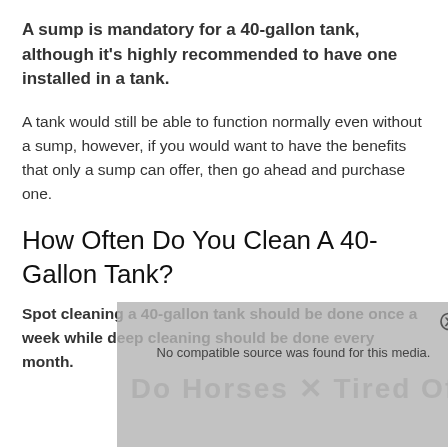A sump is mandatory for a 40-gallon tank, although it's highly recommended to have one installed in a tank.
A tank would still be able to function normally even without a sump, however, if you would want to have the benefits that only a sump can offer, then go ahead and purchase one.
How Often Do You Clean A 40-Gallon Tank?
Spot cleaning a 40-gallon tank should be done once a week while deep cleaning should be done every month.
[Figure (screenshot): Video player overlay showing 'No compatible source was found for this media.' with a watermark text at the bottom.]